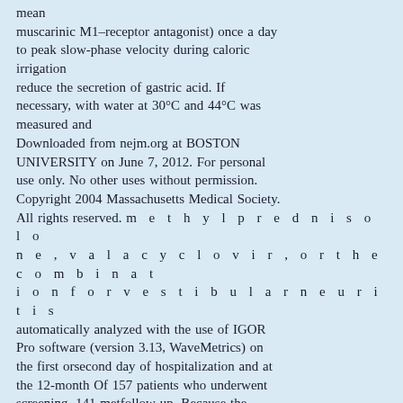mean muscarinic M1–receptor antagonist) once a day to peak slow-phase velocity during caloric irrigation reduce the secretion of gastric acid. If necessary, with water at 30°C and 44°C was measured and Downloaded from nejm.org at BOSTON UNIVERSITY on June 7, 2012. For personal use only. No other uses without permission. Copyright 2004 Massachusetts Medical Society. All rights reserved. m e t h y l p r e d n i s o l o n e , v a l a c y c l o v i r , o r t h e c o m b i n a t i o n f o r v e s t i b u l a r n e u r i t i s automatically analyzed with the use of IGOR Pro software (version 3.13, WaveMetrics) on the first orsecond day of hospitalization and at the 12-month Of 157 patients who underwent screening, 141 metfollow-up. Because the nystagmus induced by ca- the criteria for inclusion and were willing to partic-loric irrigation may vary considerably among sub- ipate. Of those 141 patients, 38 were randomly as-jects but only to a small extent in a healthy person, signed to the placebo group, 35 to the